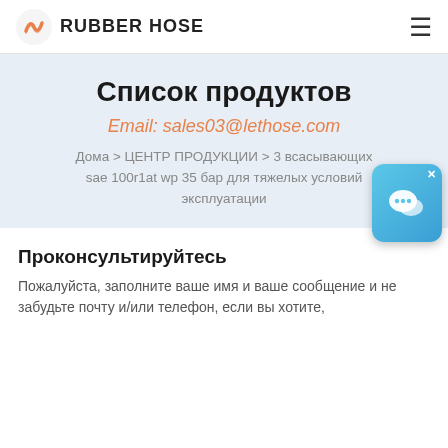RUBBER HOSE
Список продуктов
Email: sales03@lethose.com
Дома > ЦЕНТР ПРОДУКЦИИ > 3 всасывающих sae 100r1at wp 35 бар для тяжелых условий эксплуатации
[Figure (other): Blue chat widget overlay with speech bubble icon and close (x) button]
Проконсультируйтесь
Пожалуйста, заполните ваше имя и ваше сообщение и не забудьте почту и/или телефон, если вы хотите,